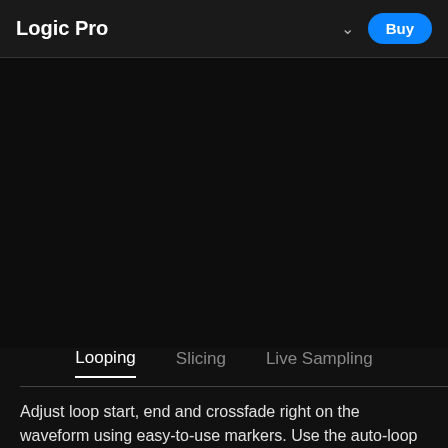Logic Pro
[Figure (screenshot): Dark screenshot area showing Logic Pro waveform/sampler interface]
Looping   Slicing   Live Sampling
Adjust loop start, end and crossfade right on the waveform using easy-to-use markers. Use the auto-loop command to quickly create seamlessly looped samples.